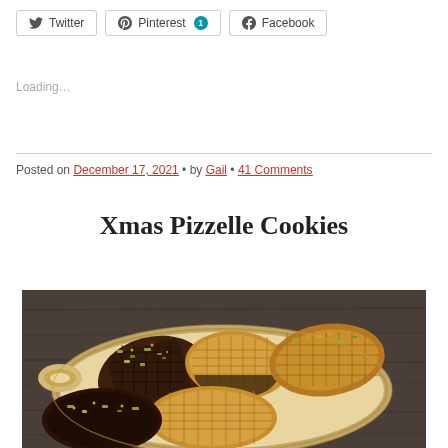Twitter  Pinterest 1  Facebook
Loading...
Posted on December 17, 2021 • by Gail • 41 Comments
Xmas Pizzelle Cookies
[Figure (photo): Photo of Xmas Pizzelle Cookies on a decorative plate, cookies dipped in chocolate and garnished with chopped pistachios, on a dark wood background]